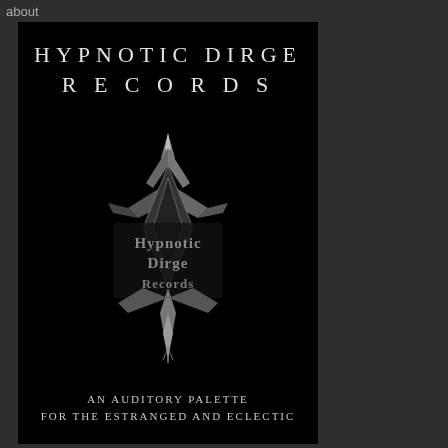about
HYPNOTIC DIRGE RECORDS
[Figure (logo): Elaborate black metal style gothic logo for Hypnotic Dirge Records featuring ornate spire/crown at top with intricate metalwork lettering spelling 'Hypnotic Dirge Records' surrounded by angular decorative elements, rendered in silver/grey on black background]
AN AUDITORY PALETTE FOR THE ESTRANGED AND ECLECTIC